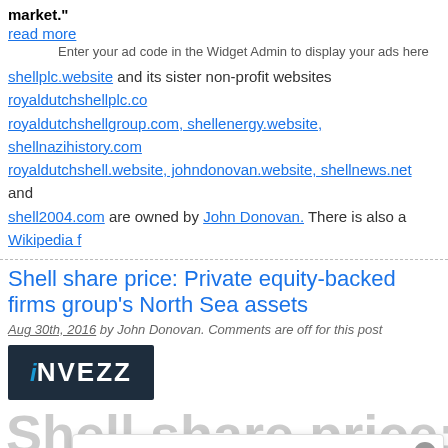market."
read more
Enter your ad code in the Widget Admin to display your ads here
shellplc.website and its sister non-profit websites royaldutchshellplc.com royaldutchshellgroup.com, shellenergy.website, shellnazihistory.com royaldutchshell.website, johndonovan.website, shellnews.net and shell2004.com are owned by John Donovan. There is also a Wikipedia f
Shell share price: Private equity-backed firms group's North Sea assets
Aug 30th, 2016 by John Donovan. Comments are off for this post
[Figure (logo): iNVEZZ logo - dark navy background with blue italic i and white NVEZZ text]
Shell share price:
Royal Dutch Shell Group .com Cookies Policy
Our Website uses cookies to improve your experience. Please visit our Privacy page for more information about cookies and how we use them.